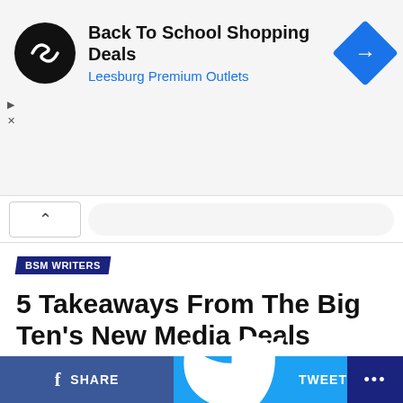[Figure (screenshot): Ad banner for Back To School Shopping Deals at Leesburg Premium Outlets with black circular logo showing infinity-like symbol and blue diamond arrow icon]
[Figure (screenshot): Browser navigation strip with back caret button and search bar]
BSM WRITERS
5 Takeaways From The Big Ten’s New Media Deals
Each partner received an equitable fair share of content that will one of each respective network for
[Figure (screenshot): Video player thumbnail showing The Producers Podcast Episode 8 - Big Baby David Jomboy Media with a man in a dark jacket]
SHARE   TWEET   ...